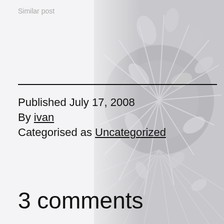Similar post
[Figure (photo): Grayscale abstract image of leaves or plant shapes with radiating lines, occupying the right portion of the page]
Published July 17, 2008
By ivan
Categorised as Uncategorized
3 comments